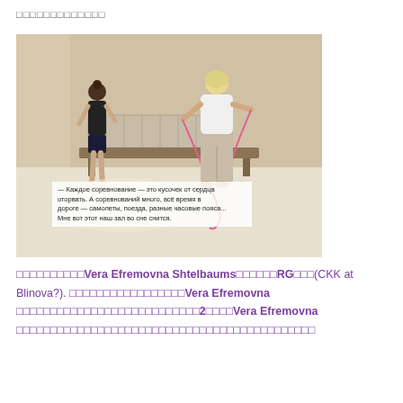□□□□□□□□□□□□□
[Figure (photo): Two women in a gymnasium. One wearing a black top and shorts stands facing away, the other in a white top and beige pants holds a pink ribbon/rope. A wooden bench and radiator visible in background. Text overlay in Russian: '— Каждое соревнование — это кусочек от сердца оторвать. А соревнований много, всё время в дороге — самолеты, поезда, разные часовые пояса... Мне вот этот наш зал во сне снится.']
□□□□□□□□□□Vera Efremovna Shtelbaums□□□□□□RG□□□(CKK at Blinova?). □□□□□□□□□□□□□□□□□Vera Efremovna □□□□□□□□□□□□□□□□□□□□□□□□□□□2□□□□Vera Efremovna □□□□□□□□□□□□□□□□□□□□□□□□□□□□□□□□□□□□□□□□□□